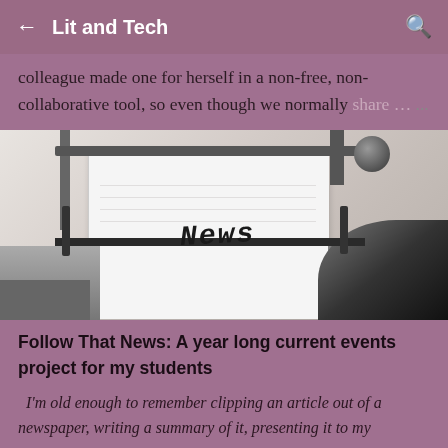← Lit and Tech 🔍
colleague made one for herself in a non-free, non-collaborative tool, so even though we normally share … ...
[Figure (photo): Close-up photo of a typewriter with a white sheet of paper loaded, with the word 'News' typed on it in italic letters.]
Follow That News: A year long current events project for my students
I'm old enough to remember clipping an article out of a newspaper, writing a summary of it, presenting it to my middle school class, and submitting it to the collection…